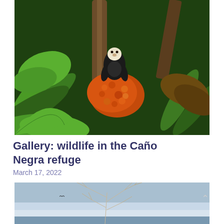[Figure (photo): A white-faced capuchin monkey sitting amidst lush tropical jungle foliage, with a large cluster of orange-red palm fruits in front of it, surrounded by green ferns and palm fronds.]
Gallery: wildlife in the Caño Negra refuge
March 17, 2022
[Figure (photo): A bare, leafless dead tree with twisted branches against a pale blue sky with some clouds and a flat horizon, possibly over a lake or wetland.]